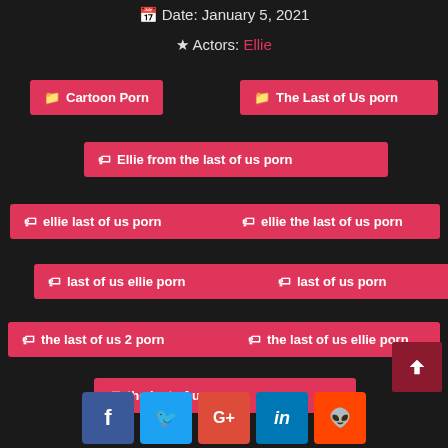Date: January 5, 2021
Actors: Ellie
Cartoon Porn
The Last of Us porn
Ellie from the last of us porn
ellie last of us porn
ellie the last of us porn
last of us ellie porn
last of us porn
the last of us 2 porn
the last of us ellie porn
the last of us porn